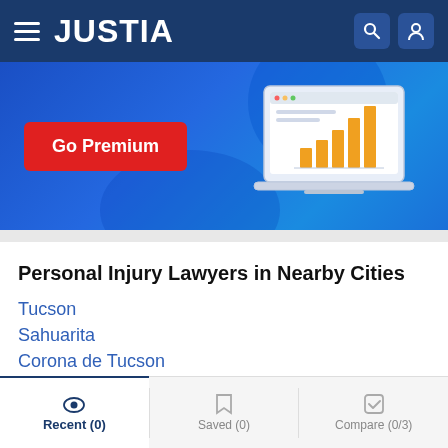JUSTIA
[Figure (illustration): Go Premium banner with a laptop showing a bar chart and a red Go Premium button on a blue gradient background]
Personal Injury Lawyers in Nearby Cities
Tucson
Sahuarita
Corona de Tucson
Vail
Rio Rico
Oro Valley
Recent (0)   Saved (0)   Compare (0/3)